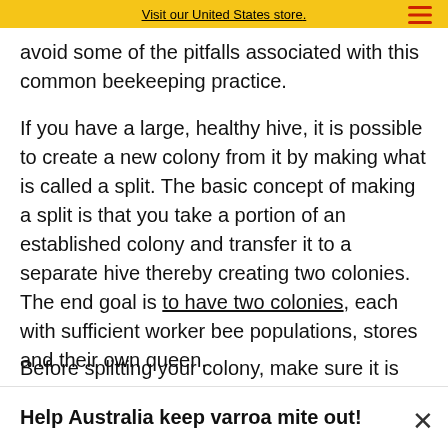Visit our United States store.
avoid some of the pitfalls associated with this common beekeeping practice.

If you have a large, healthy hive, it is possible to create a new colony from it by making what is called a split. The basic concept of making a split is that you take a portion of an established colony and transfer it to a separate hive thereby creating two colonies. The end goal is to have two colonies, each with sufficient worker bee populations, stores and their own queen.
Before splitting your colony, make sure it is
Help Australia keep varroa mite out!